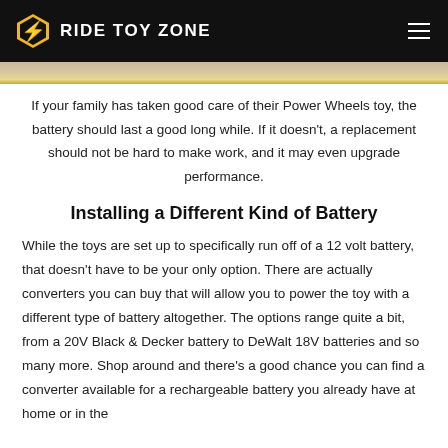RIDE TOY ZONE
[Figure (photo): Top portion of a photo visible as a thin strip below the header navigation bar]
If your family has taken good care of their Power Wheels toy, the battery should last a good long while. If it doesn't, a replacement should not be hard to make work, and it may even upgrade performance.
Installing a Different Kind of Battery
While the toys are set up to specifically run off of a 12 volt battery, that doesn't have to be your only option. There are actually converters you can buy that will allow you to power the toy with a different type of battery altogether. The options range quite a bit, from a 20V Black & Decker battery to DeWalt 18V batteries and so many more. Shop around and there's a good chance you can find a converter available for a rechargeable battery you already have at home or in the